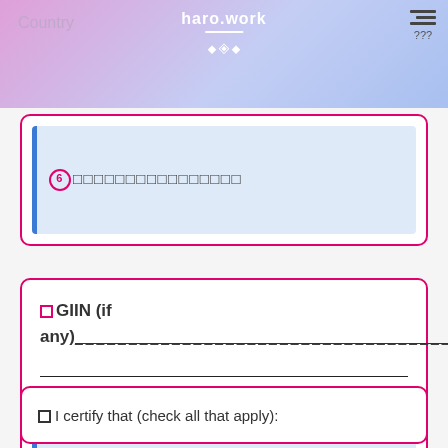Country  haro.work  menu  ???
⑥□□□□□□□□□□□□□□□□
□GIIN (if any)__________________________________
nothing□□□□□□□
□I certify that (check all that apply):